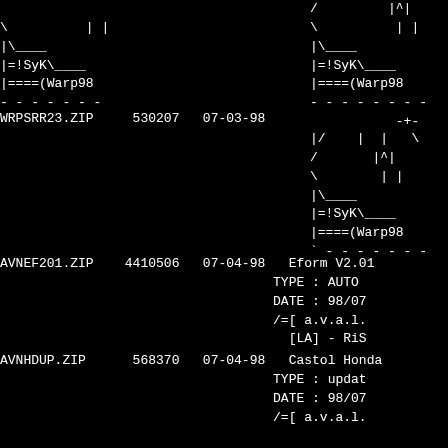[Figure (other): ASCII art graphic showing stylized logo with |^ | characters, |\____ line, |=!SyK\ line, |====(Warp98 line, followed by dashed line and -+- separator]
WRPSRR23.ZIP     530207   07-03-98
[Figure (other): ASCII art graphic showing stylized logo with |/ | | \ characters, / |^| lines, \ | | lines, |\ ____ line, |=!SyK\ line, |====(Warp98 line, followed by dashed line]
AVNEF201.ZIP    4410506   07-04-98   Eform V2.01
                                    TYPE : AUTO
                                    DATE : 98/07
                                    /=[ a.v.a.l.
                                      [LA] - RiS
AVNHDUP.ZIP      568370   07-04-98   Castol Honda
                                    TYPE : updat
                                    DATE : 98/07
                                    /=[ a.v.a.l.